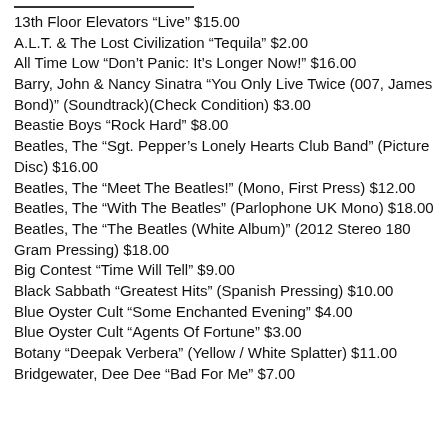13th Floor Elevators “Live” $15.00
A.L.T. & The Lost Civilization “Tequila” $2.00
All Time Low “Don’t Panic: It’s Longer Now!” $16.00
Barry, John & Nancy Sinatra “You Only Live Twice (007, James Bond)” (Soundtrack)(Check Condition) $3.00
Beastie Boys “Rock Hard” $8.00
Beatles, The “Sgt. Pepper’s Lonely Hearts Club Band” (Picture Disc) $16.00
Beatles, The “Meet The Beatles!” (Mono, First Press) $12.00
Beatles, The “With The Beatles” (Parlophone UK Mono) $18.00
Beatles, The “The Beatles (White Album)” (2012 Stereo 180 Gram Pressing) $18.00
Big Contest “Time Will Tell” $9.00
Black Sabbath “Greatest Hits” (Spanish Pressing) $10.00
Blue Oyster Cult “Some Enchanted Evening” $4.00
Blue Oyster Cult “Agents Of Fortune” $3.00
Botany “Deepak Verbera” (Yellow / White Splatter) $11.00
Bridgewater, Dee Dee “Bad For Me” $7.00